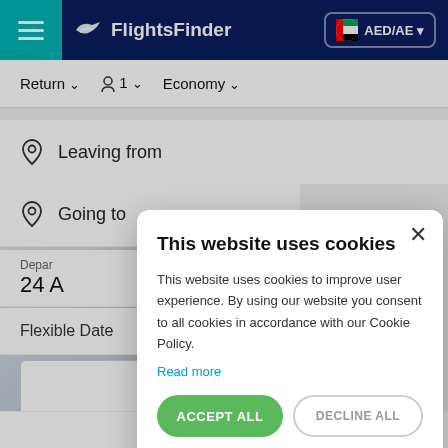FlightsFinder — AED/AE
Return  1  Economy
Leaving from
Going to
Depar
24 A
Flexible Date
This website uses cookies
This website uses cookies to improve user experience. By using our website you consent to all cookies in accordance with our Cookie Policy.
Read more
ACCEPT ALL
DECLINE ALL
SHOW DETAILS
Advanced Options